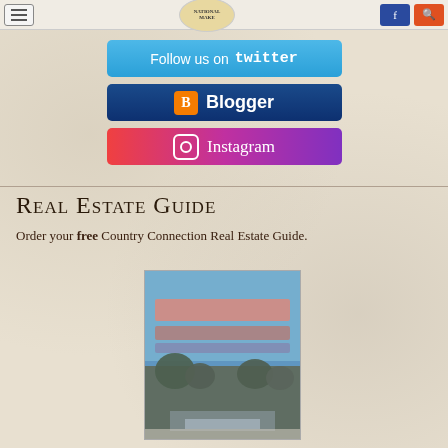Navigation bar with menu, logo, and action buttons
[Figure (screenshot): Twitter follow button - light blue rounded rectangle with 'Follow us on twitter' text]
[Figure (screenshot): Blogger button - dark blue rounded rectangle with orange Blogger icon and 'Blogger' text]
[Figure (screenshot): Instagram button - gradient pink-purple rounded rectangle with Instagram icon and script text]
Real Estate Guide
Order your free Country Connection Real Estate Guide.
[Figure (photo): Blurred book cover for Country Connection Real Estate Guide showing outdoor scenery]